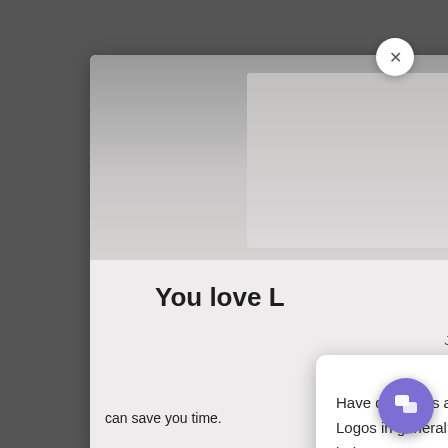[Figure (screenshot): Screenshot of a website with a modal popup dialog. The background shows a dimmed webpage. A large white modal contains an image placeholder, the text 'You love L...' as a title, and a newsletter description. A smaller chat popup card is overlaid in the lower right, with an avatar photo, an X close button, and text asking about Coaching, Group Workshops, or Logos questions. A purple chat button is in the bottom right corner.]
You love L
Join our newsletter c... all focused on Logos Bible Software and get a discount coupon for one-on-one Logos coaching in your inbox!
can save you time.
Have questions about Coaching, Group Workshops, or Logos in general? Leave your email and question below.